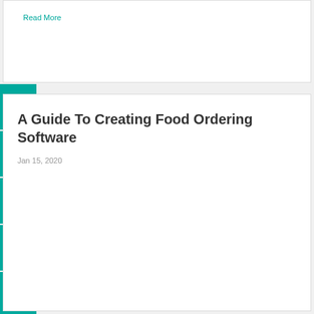Read More
A Guide To Creating Food Ordering Software
Jan 15, 2020